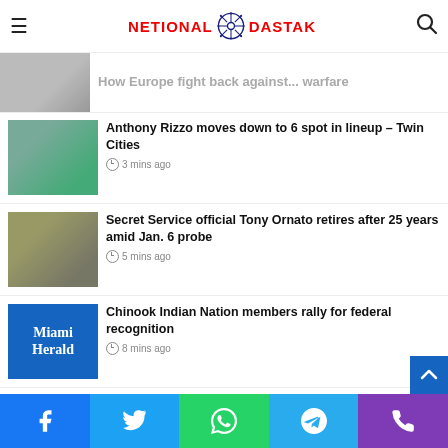NETIONAL DASTAK
[Figure (photo): Partial news article image at top, mostly cropped]
Anthony Rizzo moves down to 6 spot in lineup – Twin Cities
3 mins ago
Secret Service official Tony Ornato retires after 25 years amid Jan. 6 probe
5 mins ago
Chinook Indian Nation members rally for federal recognition
8 mins ago
Biden student debt relief plan poised to pay off loans for lucrative graduate school degrees